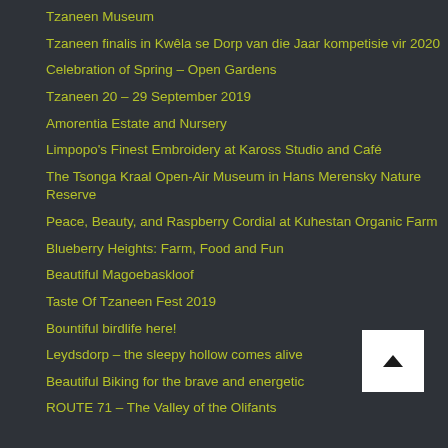Tzaneen Museum
Tzaneen finalis in Kwêla se Dorp van die Jaar kompetisie vir 2020
Celebration of Spring – Open Gardens
Tzaneen 20 – 29 September 2019
Amorentia Estate and Nursery
Limpopo's Finest Embroidery at Kaross Studio and Café
The Tsonga Kraal Open-Air Museum in Hans Merensky Nature Reserve
Peace, Beauty, and Raspberry Cordial at Kuhestan Organic Farm
Blueberry Heights: Farm, Food and Fun
Beautiful Magoebaskloof
Taste Of Tzaneen Fest 2019
Bountiful birdlife here!
Leydsdorp – the sleepy hollow comes alive
Beautiful Biking for the brave and energetic
ROUTE 71 – The Valley of the Olifants